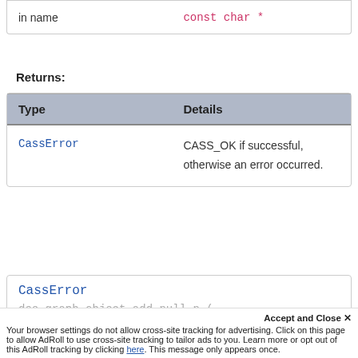|  |  |
| --- | --- |
| in name | const char * |
Returns:
| Type | Details |
| --- | --- |
| CassError | CASS_OK if successful, otherwise an error occurred. |
CassError
dse_graph_object_add_null_n(
Accept and Close ×
Your browser settings do not allow cross-site tracking for advertising. Click on this page to allow AdRoll to use cross-site tracking to tailor ads to you. Learn more or opt out of this AdRoll tracking by clicking here. This message only appears once.